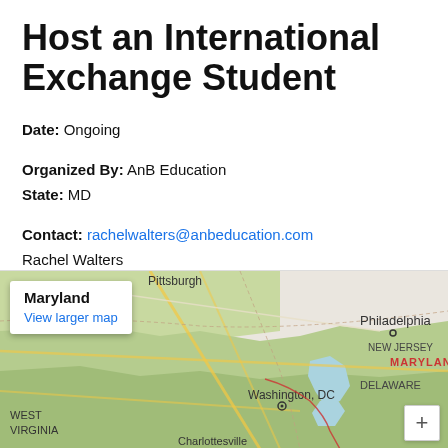Host an International Exchange Student
Date: Ongoing
Organized By: AnB Education
State: MD
Contact: rachelwalters@anbeducation.com
Rachel Walters
More Information: Click here
[Figure (map): Google Map showing Maryland and surrounding states including West Virginia, Pennsylvania (Pittsburgh), New Jersey, Delaware, and Washington DC. A popup tooltip reads 'Maryland' with a 'View larger map' link.]